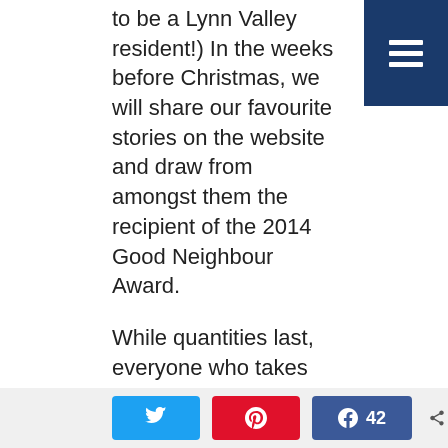to be a Lynn Valley resident!) In the weeks before Christmas, we will share our favourite stories on the website and draw from amongst them the recipient of the 2014 Good Neighbour Award.
While quantities last, everyone who takes the time to nominate a good citizen of Lynn Valley will receive a copy of Wintertide, a collection of stories, memories, recipes and photos celebrating Christmas on the North Shore. It makes for lovely holiday reading – and a great gift!
As always the winner will receive a special plaque and a gift basket of local treats. We always find something to reward the person who nominated them, too!